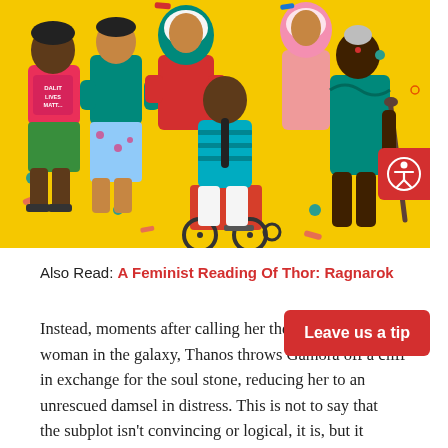[Figure (illustration): Colorful illustration of diverse women on a yellow background. Left to right: a dark-skinned woman in a pink 'DALIT LIVES MATTER' tank top and green shorts with sandals; a woman in a teal top and light blue floral pants with hands folded; a woman in teal hijab and red top; a woman seated in a red wheelchair wearing teal stripes; a woman in a pink hijab; a dark-skinned elderly woman in a teal sari holding a walking cane. Various confetti-like decorations around them.]
Also Read: A Feminist Reading Of Thor: Ragnarok
Instead, moments after calling her the d… woman in the galaxy, Thanos throws Gamora off a cliff in exchange for the soul stone, reducing her to an unrescued damsel in distress. This is not to say that the subplot isn't convincing or logical, it is, but it